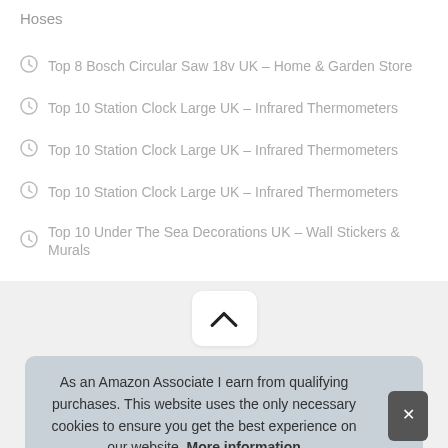Hoses
Top 8 Bosch Circular Saw 18v UK – Home & Garden Store
Top 10 Station Clock Large UK – Infrared Thermometers
Top 10 Station Clock Large UK – Infrared Thermometers
Top 10 Station Clock Large UK – Infrared Thermometers
Top 10 Under The Sea Decorations UK – Wall Stickers & Murals
[Figure (other): Chevron up button / scroll to top button]
As an Amazon Associate I earn from qualifying purchases. This website uses the only necessary cookies to ensure you get the best experience on our website. More information
to provide a means for sites to earn advertising fees by